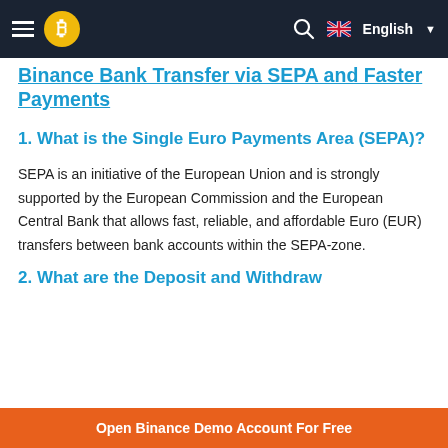Binance Bank Transfer via SEPA and Faster Payments — English
Binance Bank Transfer via SEPA and Faster Payments
1. What is the Single Euro Payments Area (SEPA)?
SEPA is an initiative of the European Union and is strongly supported by the European Commission and the European Central Bank that allows fast, reliable, and affordable Euro (EUR) transfers between bank accounts within the SEPA-zone.
2. What are the Deposit and Withdraw
Open Binance Demo Account For Free